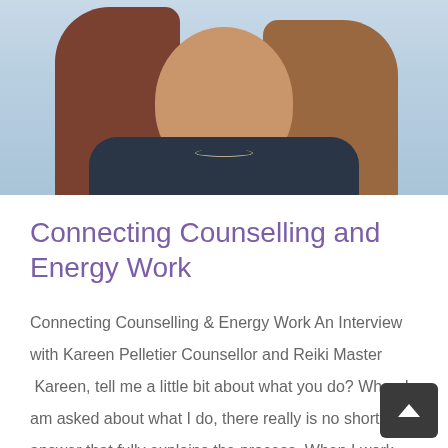[Figure (photo): Portrait photo of a woman with long auburn hair wearing a dark jacket, photographed against a light blue sky background. Only the face, neck, and upper chest are visible.]
Connecting Counselling and Energy Work
Connecting Counselling & Energy Work An Interview with Kareen Pelletier Counsellor and Reiki Master  Kareen, tell me a little bit about what you do? When I am asked about what I do, there really is no short answer that fully explains the process. When I work with